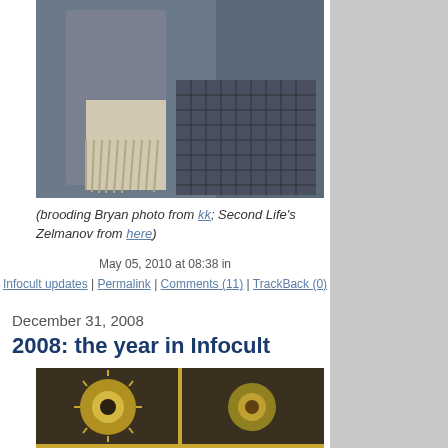[Figure (photo): Dark photo showing fringed fabric or clothing near a grate or grid surface]
(brooding Bryan photo from kk; Second Life's Zelmanov from here)
May 05, 2010 at 08:38 in Infocult updates | Permalink | Comments (11) | TrackBack (0)
December 31, 2008
2008: the year in Infocult
[Figure (photo): Religious or ornate golden decorative panels with sun-burst and heart motifs, shown in a grid of four panels]